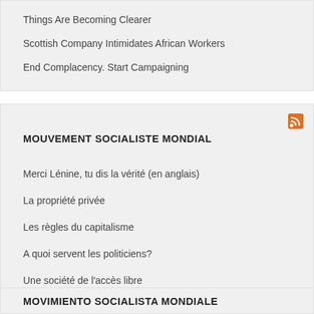Things Are Becoming Clearer
Scottish Company Intimidates African Workers
End Complacency. Start Campaigning
MOUVEMENT SOCIALISTE MONDIAL
Merci Lénine, tu dis la vérité (en anglais)
La propriété privée
Les règles du capitalisme
A quoi servent les politiciens?
Une société de l'accès libre
MOVIMIENTO SOCIALISTA MONDIALE